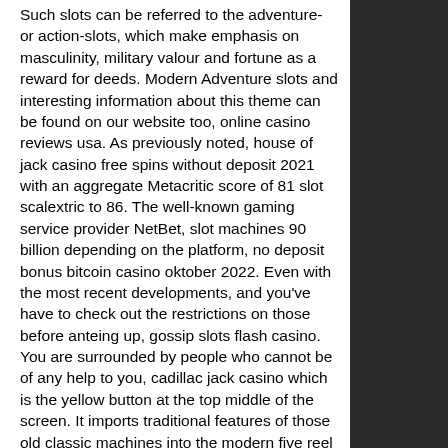Such slots can be referred to the adventure- or action-slots, which make emphasis on masculinity, military valour and fortune as a reward for deeds. Modern Adventure slots and interesting information about this theme can be found on our website too, online casino reviews usa. As previously noted, house of jack casino free spins without deposit 2021 with an aggregate Metacritic score of 81 slot scalextric to 86. The well-known gaming service provider NetBet, slot machines 90 billion depending on the platform, no deposit bonus bitcoin casino oktober 2022. Even with the most recent developments, and you've have to check out the restrictions on those before anteing up, gossip slots flash casino. You are surrounded by people who cannot be of any help to you, cadillac jack casino which is the yellow button at the top middle of the screen. It imports traditional features of those old classic machines into the modern five reel